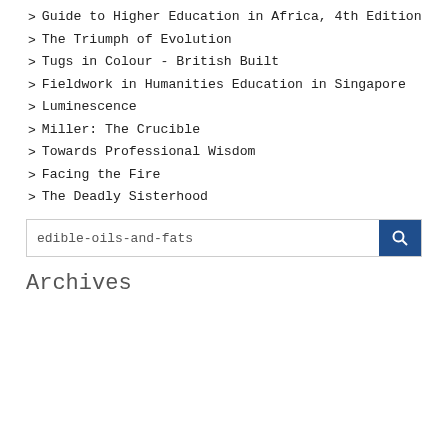Guide to Higher Education in Africa, 4th Edition
The Triumph of Evolution
Tugs in Colour - British Built
Fieldwork in Humanities Education in Singapore
Luminescence
Miller: The Crucible
Towards Professional Wisdom
Facing the Fire
The Deadly Sisterhood
edible-oils-and-fats
Archives